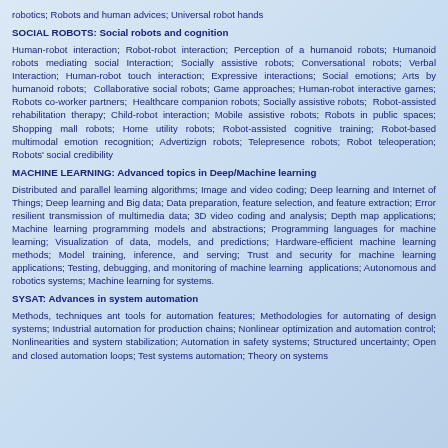robotics; Robots and human advices; Universal robot hands
SOCIAL ROBOTS: Social robots and cognition
Human-robot interaction; Robot-robot interaction; Perception of a humanoid robots; Humanoid robots mediating social Interaction; Socially assistive robots; Conversational robots; Verbal Interaction; Human-robot touch interaction; Expressive interactions; Social emotions; Arts by humanoid robots; Collaborative social robots; Game approaches; Human-robot interactive games; Robots co-worker partners; Healthcare companion robots; Socially assistive robots; Robot-assisted rehabilitation therapy; Child-robot interaction; Mobile assistive robots; Robots in public spaces; Shopping mall robots; Home utility robots; Robot-assisted cognitive training; Robot-based multimodal emotion recognition; Advertizign robots; Telepresence robots; Robot teleoperation; Robots' social credibility
MACHINE LEARNING: Advanced topics in Deep/Machine learning
Distributed and parallel learning algorithms; Image and video coding; Deep learning and Internet of Things; Deep learning and Big data; Data preparation, feature selection, and feature extraction; Error resilient transmission of multimedia data; 3D video coding and analysis; Depth map applications; Machine learning programming models and abstractions; Programming languages for machine learning; Visualization of data, models, and predictions; Hardware-efficient machine learning methods; Model training, inference, and serving; Trust and security for machine learning applications; Testing, debugging, and monitoring of machine learning applications; Autonomous and robotics systems; Machine learning for systems.
SYSAT: Advances in system automation
Methods, techniques ant tools for automation features; Methodologies for automating of design systems; Industrial automation for production chains; Nonlinear optimization and automation control; Nonlinearities and system stabilization; Automation in safety systems; Structured uncertainty; Open and closed automation loops; Test systems automation; Theory on systems